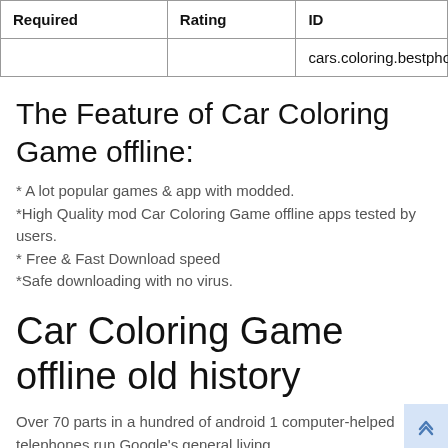| Required | Rating | ID |
| --- | --- | --- |
|  |  | cars.coloring.bestphot |
The Feature of Car Coloring Game offline:
* A lot popular games & app with modded.
*High Quality mod Car Coloring Game offline apps tested by users.
* Free & Fast Download speed
*Safe downloading with no virus.
Car Coloring Game offline old history
Over 70 parts in a hundred of android 1 computer-helped telephones run Google's general living